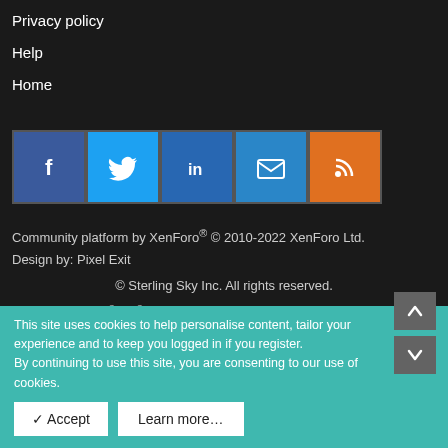Privacy policy
Help
Home
[Figure (infographic): Social media buttons: Facebook (blue), Twitter (light blue), LinkedIn (blue), Email (blue), RSS (orange)]
Community platform by XenForo® © 2010-2022 XenForo Ltd.
Design by: Pixel Exit
© Sterling Sky Inc. All rights reserved.
| Xenforo Add-ons © by ©XenTR | Media embeds via s9e/MediaSites
[Figure (other): QR code image]
This site uses cookies to help personalise content, tailor your experience and to keep you logged in if you register.
By continuing to use this site, you are consenting to our use of cookies.
✓ Accept   Learn more…